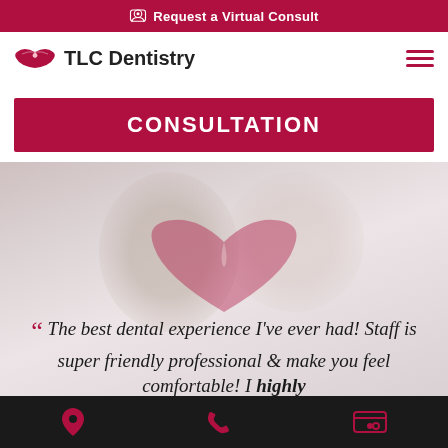Request a Virtual Consult
[Figure (logo): TLC Dentistry logo with lips icon and text]
CONSULTATION
[Figure (photo): Smiling middle-aged couple, man and woman, white teeth, with a red lips heart watermark overlay and italic testimonial quote text: The best dental experience I've ever had! Staff is super friendly professional & make you feel comfortable! I highly]
“ The best dental experience I've ever had! Staff is super friendly professional & make you feel comfortable! I highly
Location | Phone | Payment icons